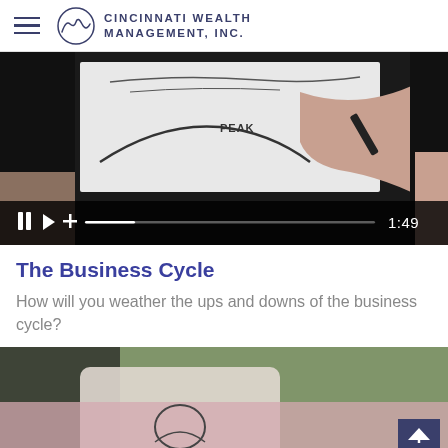Cincinnati Wealth Management, Inc.
[Figure (screenshot): Video thumbnail showing a hand drawing a business cycle diagram on a whiteboard/tablet with the word PEAK visible. Video controls bar at bottom showing pause, play, plus, progress bar, and time 1:49.]
The Business Cycle
How will you weather the ups and downs of the business cycle?
[Figure (photo): Person holding a tablet outdoors, wearing a pink knit sweater. Green foliage in background. Partial view of drawing or content on tablet screen.]